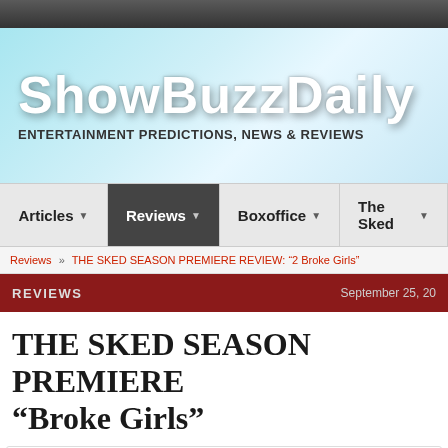[Figure (screenshot): Dark top navigation bar of website]
ShowBuzzDaily
Entertainment Predictions, News & Reviews
Articles   Reviews   Boxoffice   The Sked
Reviews » THE SKED SEASON PREMIERE REVIEW: "2 Broke Girls"
REVIEWS   September 25, 20
THE SKED SEASON PREMIERE REVIEW: "2 Broke Girls"
Written by: Mitch Salem
Tags: 2 broke girls, Beth Behrs, cbs, Jennifer Coolidge, kat dennings, Mich...